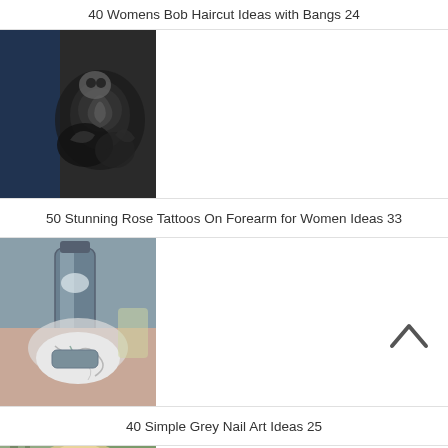40 Womens Bob Haircut Ideas with Bangs 24
[Figure (photo): Close-up photo of a tattoo on a forearm featuring roses and skull designs in black and grey ink, with a blue fabric visible in the background.]
50 Stunning Rose Tattoos On Forearm for Women Ideas 33
[Figure (photo): Photo of a hand holding an ella+mila nail polish bottle in grey/blue color called Desire, with a painted marble/grey nail art design visible.]
40 Simple Grey Nail Art Ideas 25
[Figure (photo): Partial photo of a blonde woman, cropped at the bottom of the page.]